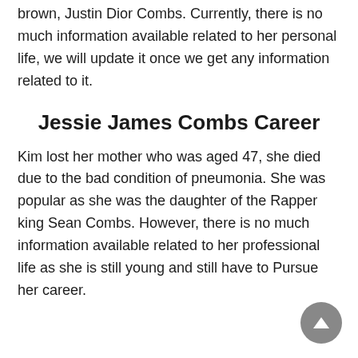brown, Justin Dior Combs. Currently, there is no much information available related to her personal life, we will update it once we get any information related to it.
Jessie James Combs Career
Kim lost her mother who was aged 47, she died due to the bad condition of pneumonia. She was popular as she was the daughter of the Rapper king Sean Combs. However, there is no much information available related to her professional life as she is still young and still have to Pursue her career.